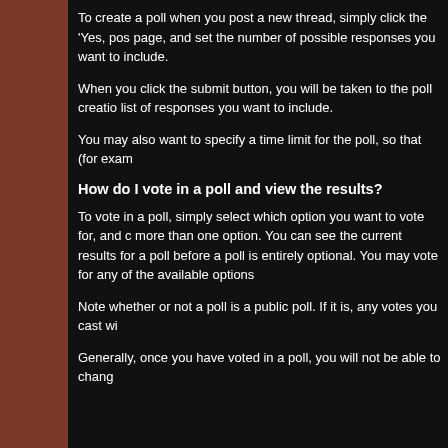To create a poll when you post a new thread, simply click the 'Yes, pos page, and set the number of possible responses you want to include.
When you click the submit button, you will be taken to the poll creation list of responses you want to include.
You may also want to specify a time limit for the poll, so that (for exam
How do I vote in a poll and view the results?
To vote in a poll, simply select which option you want to vote for, and c more than one option. You can see the current results for a poll before a poll is entirely optional. You may vote for any of the available options
Note whether or not a poll is a public poll. If it is, any votes you cast wi
Generally, once you have voted in a poll, you will not be able to chang
Attachments and Images
How do I attach a file to a post?
To attach a file to your post, you need to be using the main 'New Post' the main 'New Post' page, click the 'Post Reply' button in the relevant t
On this page, below the message box, you will find a button labelled 'M new window for uploading attachments. You can upload an attachmen using the appropriate box on this page. Alternatively you can click the A
To upload a file from your computer click the 'Browse' button and b